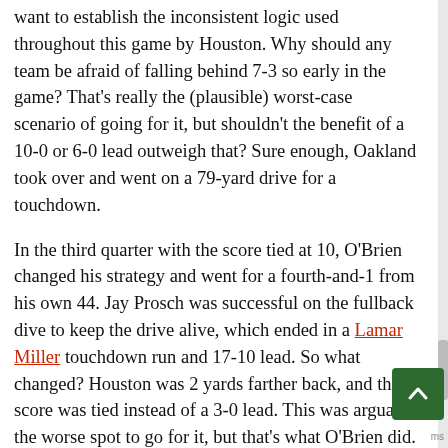want to establish the inconsistent logic used throughout this game by Houston. Why should any team be afraid of falling behind 7-3 so early in the game? That's really the (plausible) worst-case scenario of going for it, but shouldn't the benefit of a 10-0 or 6-0 lead outweigh that? Sure enough, Oakland took over and went on a 79-yard drive for a touchdown.
In the third quarter with the score tied at 10, O'Brien changed his strategy and went for a fourth-and-1 from his own 44. Jay Prosch was successful on the fullback dive to keep the drive alive, which ended in a Lamar Miller touchdown run and 17-10 lead. So what changed? Houston was 2 yards farther back, and the score was tied instead of a 3-0 lead. This was arguably the worse spot to go for it, but that's what O'Brien did.